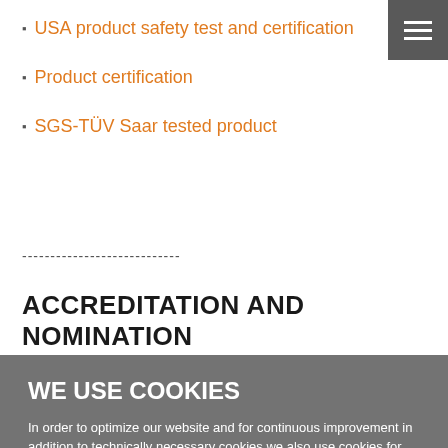USA product safety test and certification
Product certification
SGS-TÜV Saar tested product
----------------------------
ACCREDITATION AND NOMINATION
[Figure (screenshot): Cookie consent dialog overlay on a gray background. Title: WE USE COOKIES. Body text: In order to optimize our website and for continuous improvement in addition to technically necessary cookies we also use cookies for statistical / analysis purposes. Please find more information in our Privacy Policy. Three buttons: Agree to all, Only necessary, Cookie settings.]